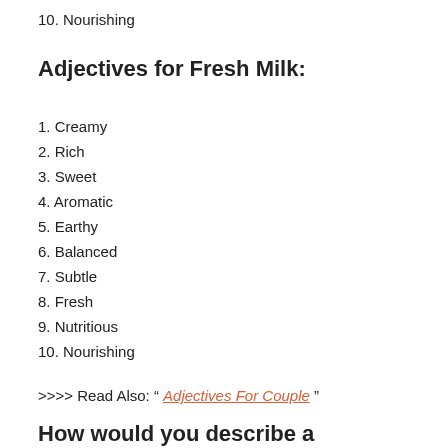10. Nourishing
Adjectives for Fresh Milk:
1. Creamy
2. Rich
3. Sweet
4. Aromatic
5. Earthy
6. Balanced
7. Subtle
8. Fresh
9. Nutritious
10. Nourishing
>>>> Read Also: " Adjectives For Couple "
How would you describe a chocolate